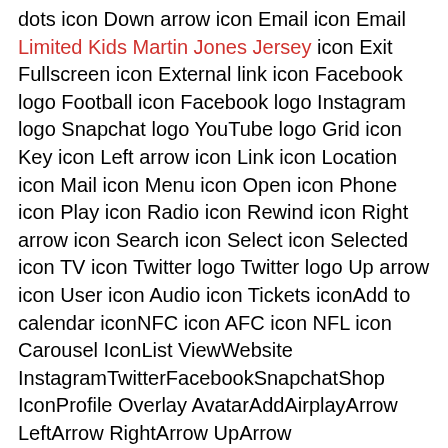dots icon Down arrow icon Email icon Email Limited Kids Martin Jones Jersey icon Exit Fullscreen icon External link icon Facebook logo Football icon Facebook logo Instagram logo Snapchat logo YouTube logo Grid icon Key icon Left arrow icon Link icon Location icon Mail icon Menu icon Open icon Phone icon Play icon Radio icon Rewind icon Right arrow icon Search icon Select icon Selected icon TV icon Twitter logo Twitter logo Up arrow icon User icon Audio icon Tickets iconAdd to calendar iconNFC icon AFC icon NFL icon Carousel IconList ViewWebsite InstagramTwitterFacebookSnapchatShop IconProfile Overlay AvatarAddAirplayArrow LeftArrow RightArrow UpArrow DownAudioBack 5sBack 10sBack 30sCalendarChartCheckDownLeftRightUpChromecast OffChromecast OnCloseClosed CaptionsBench OffBench OnBroad OffBroad OnVertical OffVertical OnCommentDockDoneDownloadDraftFantasyFilterForward 5sForward 10sForward 30sFullScreen OffFull Screen